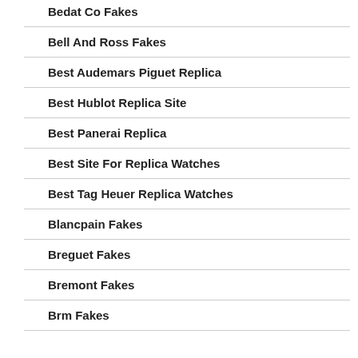Bedat Co Fakes
Bell And Ross Fakes
Best Audemars Piguet Replica
Best Hublot Replica Site
Best Panerai Replica
Best Site For Replica Watches
Best Tag Heuer Replica Watches
Blancpain Fakes
Breguet Fakes
Bremont Fakes
Brm Fakes